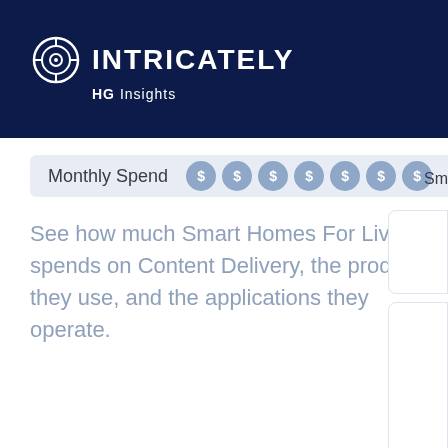INTRICATELY HG Insights
Monthly Spend
See how much Smart Homes For Living spends on Content Delivery, the products they use, and the applications they operate.